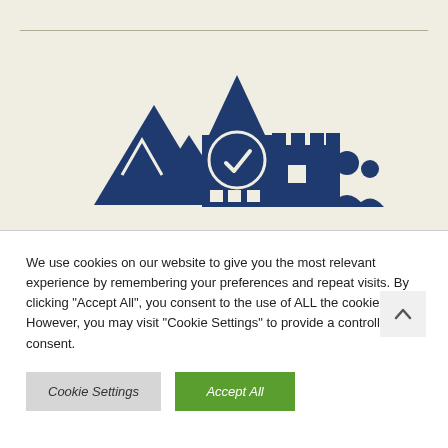[Figure (illustration): Dark blue illustrated icon showing mountains, a clock tower building with a clock face and checkmark, a castle battlement, and two human silhouettes (adult and child), on a cream/beige background.]
We use cookies on our website to give you the most relevant experience by remembering your preferences and repeat visits. By clicking "Accept All", you consent to the use of ALL the cookies. However, you may visit "Cookie Settings" to provide a controlled consent.